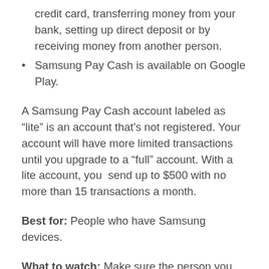credit card, transferring money from your bank, setting up direct deposit or by receiving money from another person.
Samsung Pay Cash is available on Google Play.
A Samsung Pay Cash account labeled as “lite” is an account that’s not registered. Your account will have more limited transactions until you upgrade to a “full” account. With a lite account, you send up to $500 with no more than 15 transactions a month.
Best for: People who have Samsung devices.
What to watch: Make sure the person you are sending money to has Samsung Pay Cash.